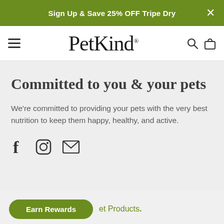Sign Up & Save 25% OFF Tripe Dry
PetKind
Committed to you & your pets
We're committed to providing your pets with the very best nutrition to keep them happy, healthy, and active.
[Figure (infographic): Social media icons: Facebook (f), Instagram (camera), Email (envelope)]
Earn Rewards